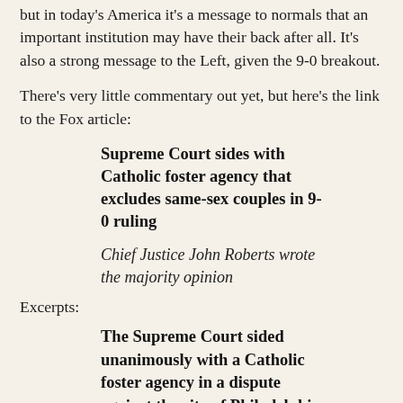but in today's America it's a message to normals that an important institution may have their back after all. It's also a strong message to the Left, given the 9-0 breakout.
There's very little commentary out yet, but here's the link to the Fox article:
Supreme Court sides with Catholic foster agency that excludes same-sex couples in 9-0 ruling
Chief Justice John Roberts wrote the majority opinion
Excerpts:
The Supreme Court sided unanimously with a Catholic foster agency in a dispute against the city of Philadelphia over whether it should be banned from participating in the city's foster program because it refused to work with same-sex couples.